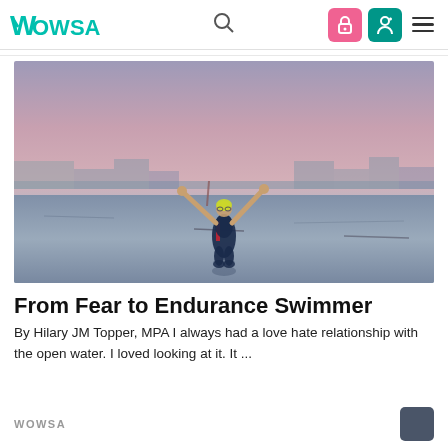WOWSA
[Figure (photo): A woman in a dark wetsuit with arms raised triumphantly, standing in shallow open water at dusk/dawn. The background shows a pink-purple sky and a distant shoreline with buildings.]
From Fear to Endurance Swimmer
By Hilary JM Topper, MPA I always had a love hate relationship with the open water. I loved looking at it. It ...
WOWSA